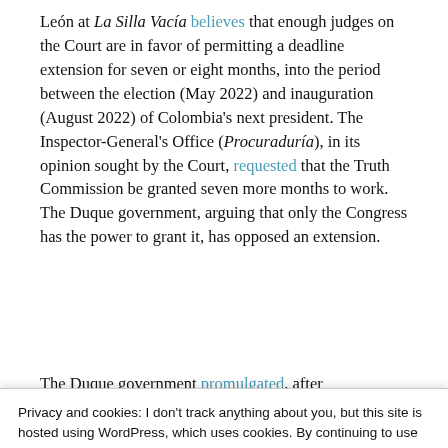León at La Silla Vacía believes that enough judges on the Court are in favor of permitting a deadline extension for seven or eight months, into the period between the election (May 2022) and inauguration (August 2022) of Colombia's next president. The Inspector-General's Office (Procuraduría), in its opinion sought by the Court, requested that the Truth Commission be granted seven more months to work. The Duque government, arguing that only the Congress has the power to grant it, has opposed an extension.
The Duque government promulgated, after
Privacy and cookies: I don't track anything about you, but this site is hosted using WordPress, which uses cookies. By continuing to use this site, you agree to that. Privacy policy